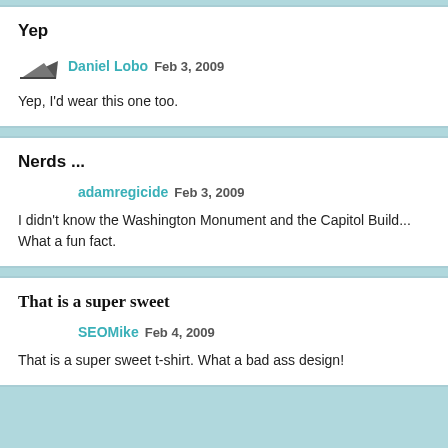Yep
Daniel Lobo  Feb 3, 2009
Yep, I'd wear this one too.
Nerds ...
adamregicide  Feb 3, 2009
I didn't know the Washington Monument and the Capitol Build... What a fun fact.
That is a super sweet
SEOMike  Feb 4, 2009
That is a super sweet t-shirt. What a bad ass design!